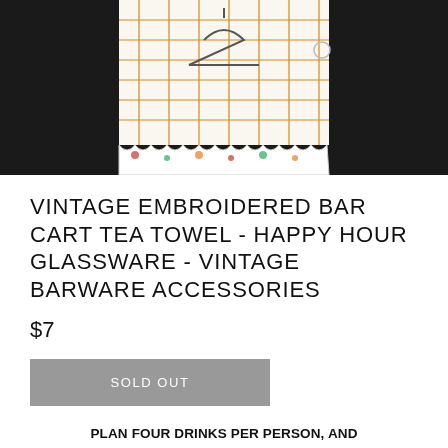[Figure (photo): Vintage embroidered tea towel hanging on a dark background, showing a checkered pattern with orange grid lines and decorative scalloped/lace bottom edge with small colorful embroidered designs]
VINTAGE EMBROIDERED BAR CART TEA TOWEL - HAPPY HOUR GLASSWARE - VINTAGE BARWARE ACCESSORIES
$7
SOLD OUT
PLAN FOUR DRINKS PER PERSON, AND HAVE SOME SUPPLIES IN RESERVE... JAMES BEARD'S ADVICE ON HOW TO THROW A COCKTAIL PARTY CIRCA 1965